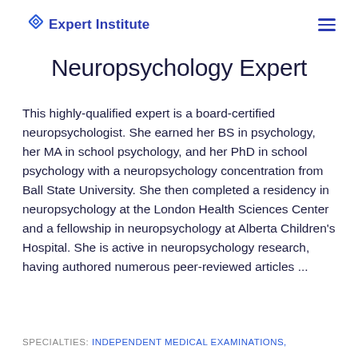Expert Institute
Neuropsychology Expert
This highly-qualified expert is a board-certified neuropsychologist. She earned her BS in psychology, her MA in school psychology, and her PhD in school psychology with a neuropsychology concentration from Ball State University. She then completed a residency in neuropsychology at the London Health Sciences Center and a fellowship in neuropsychology at Alberta Children's Hospital. She is active in neuropsychology research, having authored numerous peer-reviewed articles ...
SPECIALTIES: INDEPENDENT MEDICAL EXAMINATIONS,